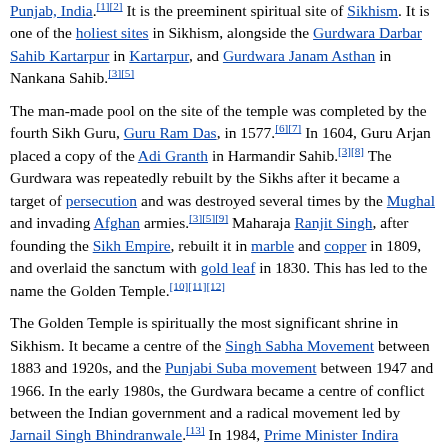Punjab, India.[1][2] It is the preeminent spiritual site of Sikhism. It is one of the holiest sites in Sikhism, alongside the Gurdwara Darbar Sahib Kartarpur in Kartarpur, and Gurdwara Janam Asthan in Nankana Sahib.[3][5]
The man-made pool on the site of the temple was completed by the fourth Sikh Guru, Guru Ram Das, in 1577.[6][7] In 1604, Guru Arjan placed a copy of the Adi Granth in Harmandir Sahib.[3][8] The Gurdwara was repeatedly rebuilt by the Sikhs after it became a target of persecution and was destroyed several times by the Mughal and invading Afghan armies.[3][5][9] Maharaja Ranjit Singh, after founding the Sikh Empire, rebuilt it in marble and copper in 1809, and overlaid the sanctum with gold leaf in 1830. This has led to the name the Golden Temple.[10][11][12]
The Golden Temple is spiritually the most significant shrine in Sikhism. It became a centre of the Singh Sabha Movement between 1883 and 1920s, and the Punjabi Suba movement between 1947 and 1966. In the early 1980s, the Gurdwara became a centre of conflict between the Indian government and a radical movement led by Jarnail Singh Bhindranwale.[13] In 1984, Prime Minister Indira Gandhi sent in the Indian Army as part of Operation Blue Star, leading to deaths of over 1,000 soldiers and civilians, as well as causing much damage to the Gurdwara and the destruction of